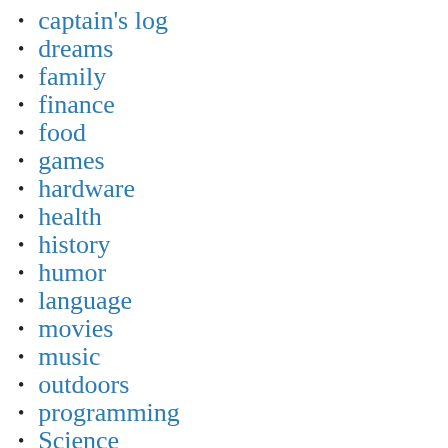captain's log
dreams
family
finance
food
games
hardware
health
history
humor
language
movies
music
outdoors
programming
Science